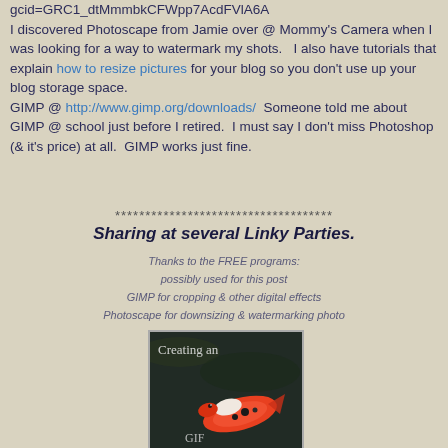gcid=GRC1_dtMmmbkCFWpp7AcdFVlA6A I discovered Photoscape from Jamie over @ Mommy's Camera when I was looking for a way to watermark my shots.   I also have tutorials that explain how to resize pictures for your blog so you don't use up your blog storage space. GIMP @ http://www.gimp.org/downloads/  Someone told me about GIMP @ school just before I retired.  I must say I don't miss Photoshop (& it's price) at all.  GIMP works just fine.
************************************
Sharing at several Linky Parties.
Thanks to the FREE programs:
possibly used for this post
GIMP for cropping & other digital effects
Photoscape for downsizing & watermarking photo
[Figure (photo): Photo thumbnail showing a koi fish with text overlay reading 'Creating an' and 'GIF' visible, dark background with red and white koi fish]